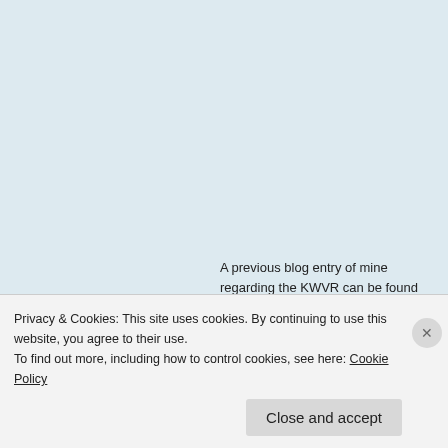A previous blog entry of mine regarding the KWVR can be found here:
https://anticsroadshowblogspot.wordpress.com/2014/04/0
archive-keighley-worth-valley-railway-12th-october-2012/
Advertisements
[Figure (illustration): Colorful advertisement banner with cartoon illustrations of a sailboat, skull, and decorative elements on a pink-to-purple gradient background]
Privacy & Cookies: This site uses cookies. By continuing to use this website, you agree to their use.
To find out more, including how to control cookies, see here: Cookie Policy
Close and accept